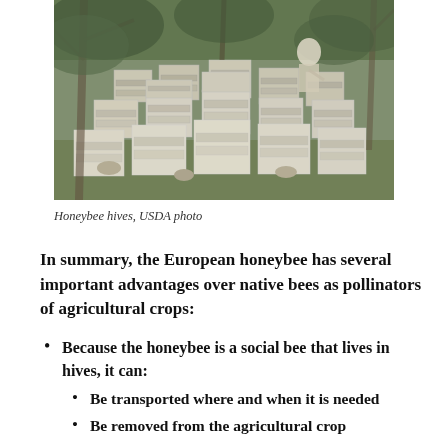[Figure (photo): Honeybee hives in an outdoor wooded area with a beekeeper visible in the background, USDA photo]
Honeybee hives, USDA photo
In summary, the European honeybee has several important advantages over native bees as pollinators of agricultural crops:
Because the honeybee is a social bee that lives in hives, it can:
Be transported where and when it is needed
Be removed from the agricultural crop